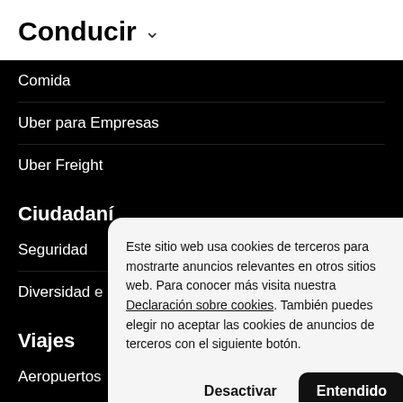Conducir
Comida
Uber para Empresas
Uber Freight
Ciudadaní
Seguridad
Diversidad e i
Viajes
Aeropuertos
Este sitio web usa cookies de terceros para mostrarte anuncios relevantes en otros sitios web. Para conocer más visita nuestra Declaración sobre cookies. También puedes elegir no aceptar las cookies de anuncios de terceros con el siguiente botón.
Desactivar
Entendido